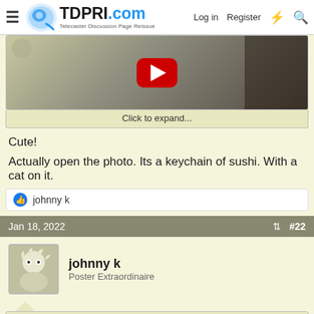TDPRI.com — Telecaster Discussion Page Reissue | Log in | Register
[Figure (screenshot): YouTube video thumbnail with play button]
Click to expand...
Cute!
Actually open the photo. Its a keychain of sushi. With a cat on it.
👍 johnny k
Jan 18, 2022  #22
johnny k
Poster Extraordinaire
Flat6Driver said:
Cute!